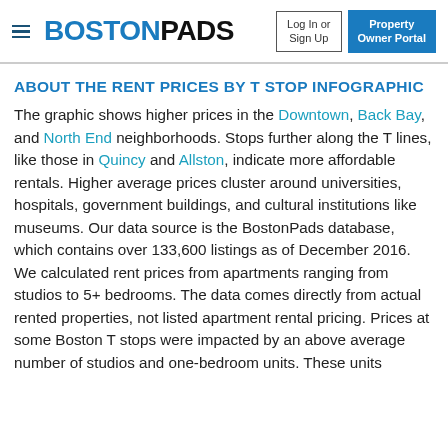BOSTONPADS — Log In or Sign Up | Property Owner Portal
ABOUT THE RENT PRICES BY T STOP INFOGRAPHIC
The graphic shows higher prices in the Downtown, Back Bay, and North End neighborhoods. Stops further along the T lines, like those in Quincy and Allston, indicate more affordable rentals. Higher average prices cluster around universities, hospitals, government buildings, and cultural institutions like museums. Our data source is the BostonPads database, which contains over 133,600 listings as of December 2016. We calculated rent prices from apartments ranging from studios to 5+ bedrooms. The data comes directly from actual rented properties, not listed apartment rental pricing. Prices at some Boston T stops were impacted by an above average number of studios and one-bedroom units. These units